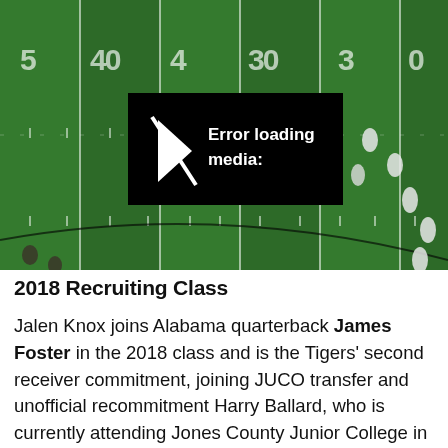[Figure (screenshot): Aerial view of a football field with yard lines (30, 40, 50) visible. Multiple players in white uniforms visible on the right side. A black overlay box in the center reads 'Error loading media:' with a play icon.]
2018 Recruiting Class
Jalen Knox joins Alabama quarterback James Foster in the 2018 class and is the Tigers' second receiver commitment, joining JUCO transfer and unofficial recommitment Harry Ballard, who is currently attending Jones County Junior College in Mississippi. Missouri is still pursuing St. Louis standout receiver Kamryn Babb